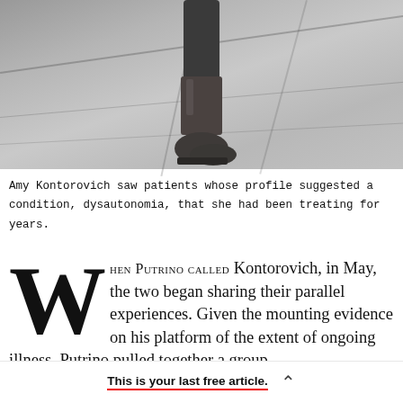[Figure (photo): Black and white photo of a person's lower legs and feet wearing boots, standing on tiled floor]
Amy Kontorovich saw patients whose profile suggested a condition, dysautonomia, that she had been treating for years.
When Putrino called Kontorovich, in May, the two began sharing their parallel experiences. Given the mounting evidence on his platform of the extent of ongoing illness, Putrino pulled together a group
This is your last free article.